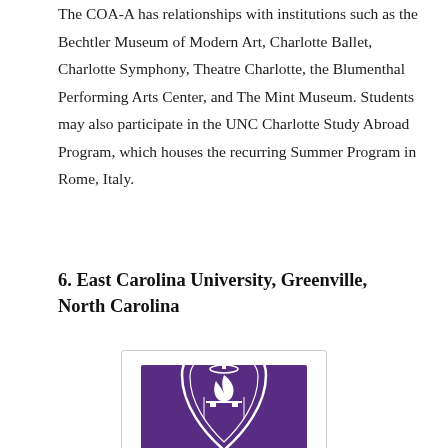The COA-A has relationships with institutions such as the Bechtler Museum of Modern Art, Charlotte Ballet, Charlotte Symphony, Theatre Charlotte, the Blumenthal Performing Arts Center, and The Mint Museum. Students may also participate in the UNC Charlotte Study Abroad Program, which houses the recurring Summer Program in Rome, Italy.
6. East Carolina University, Greenville, North Carolina
[Figure (logo): ECU (East Carolina University) logo — purple background with white shield crest and 'ECU' text below]